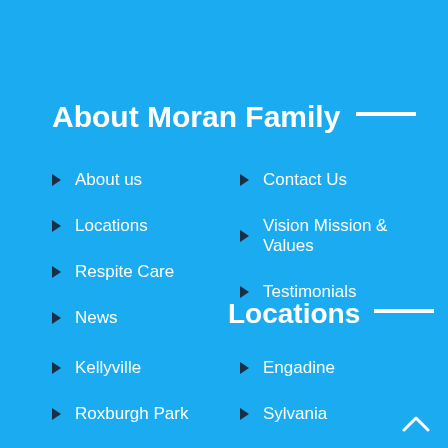About Moran Family ____
About us
Contact Us
Locations
Vision Mission & Values
Respite Care
Testimonials
News
Locations ____
Kellyville
Engadine
Roxburgh Park
Sylvania